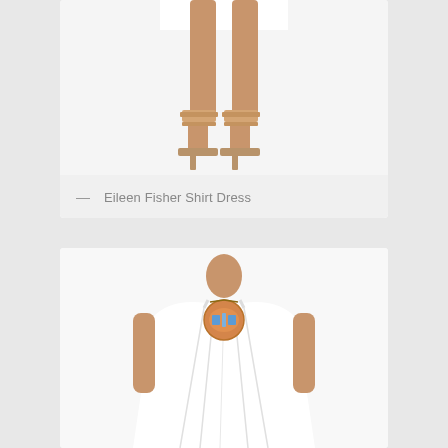[Figure (photo): Bottom portion of a model wearing a white shirt dress with strappy tan/nude heeled sandals, against a white background. Only the lower legs and feet are visible.]
— Eileen Fisher Shirt Dress
[Figure (photo): Model wearing a white halter-style flowing mini dress with a decorative circular pendant necklace featuring orange and blue geometric patterns. The dress is gathered at the neck and flows loosely. White background.]